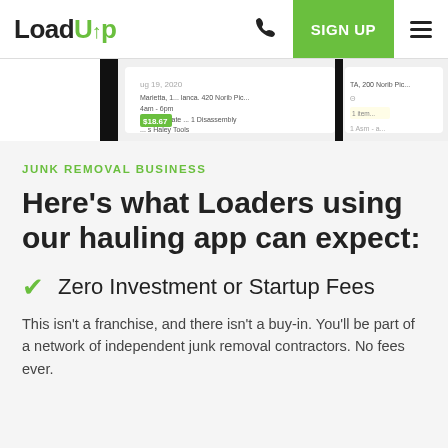LoadUp | SIGN UP
[Figure (screenshot): Screenshot of LoadUp app interface showing job details dated Aug 19, 2020 with address, time 4am-6pm, items including Haley Tools, and payment $18.67]
JUNK REMOVAL BUSINESS
Here's what Loaders using our hauling app can expect:
Zero Investment or Startup Fees
This isn't a franchise, and there isn't a buy-in. You'll be part of a network of independent junk removal contractors. No fees ever.